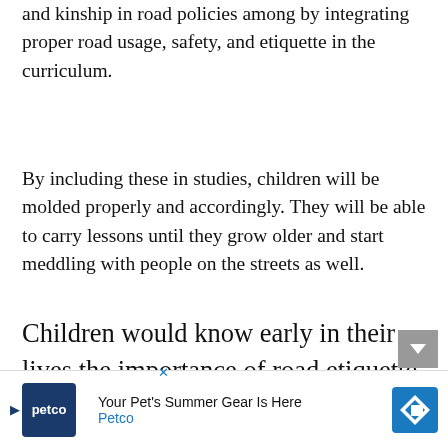and kinship in road policies among by integrating proper road usage, safety, and etiquette in the curriculum.
By including these in studies, children will be molded properly and accordingly. They will be able to carry lessons until they grow older and start meddling with people on the streets as well.
Children would know early in their lives the importance of road etiquette and safety which they will be able to use when they grow older and use the roads themselves.
House Bill 8761, more commonly known as the Road Safety Education Act, somehow commands the Department of Education (DepEd) to include in
[Figure (other): Petco advertisement banner: 'Your Pet's Summer Gear Is Here' with Petco logo and road sign icon]